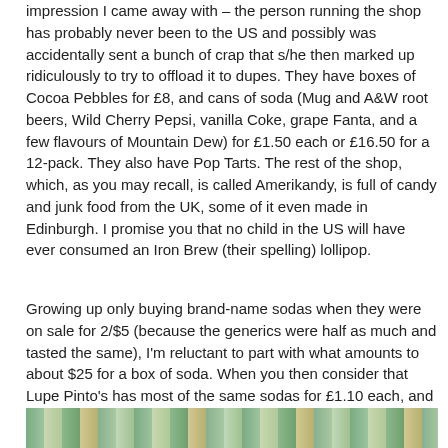impression I came away with – the person running the shop has probably never been to the US and possibly was accidentally sent a bunch of crap that s/he then marked up ridiculously to try to offload it to dupes.  They have boxes of Cocoa Pebbles for £8, and cans of soda (Mug and A&W root beers, Wild Cherry Pepsi, vanilla Coke, grape Fanta, and a few flavours of Mountain Dew) for £1.50 each or £16.50 for a 12-pack.  They also have Pop Tarts.  The rest of the shop, which, as you may recall, is called Amerikandy, is full of candy and junk food from the UK, some of it even made in Edinburgh.  I promise you that no child in the US will have ever consumed an Iron Brew (their spelling) lollipop.
Growing up only buying brand-name sodas when they were on sale for 2/$5 (because the generics were half as much and tasted the same), I'm reluctant to part with what amounts to about $25 for a box of soda.  When you then consider that Lupe Pinto's has most of the same sodas for £1.10 each, and also has other products I'd actually want to buy, I'm unlikely to shop here again.  However, I did grab a few things out of a combination of desperation (for root beer) and curiosity/shock value.
[Figure (photo): Bottom strip of a photograph showing what appears to be shelves or products in a shop, partially visible at the bottom of the page.]